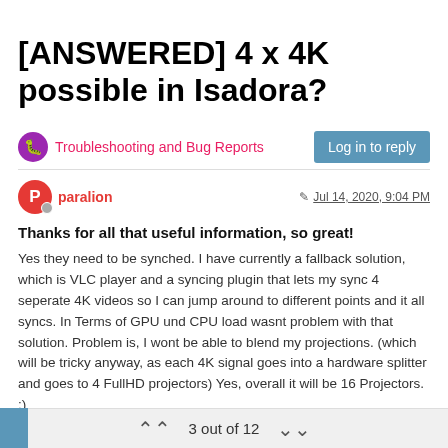[ANSWERED] 4 x 4K possible in Isadora?
Troubleshooting and Bug Reports
Log in to reply
paralion
Jul 14, 2020, 9:04 PM
Thanks for all that useful information, so great!
Yes they need to be synched. I have currently a fallback solution, which is VLC player and a syncing plugin that lets my sync 4 seperate 4K videos so I can jump around to different points and it all syncs. In Terms of GPU und CPU load wasnt problem with that solution. Problem is, I wont be able to blend my projections. (which will be tricky anyway, as each 4K signal goes into a hardware splitter and goes to 4 FullHD projectors) Yes, overall it will be 16 Projectors. :)
For the room I will basically need a 4x1 Setup. 1x4k on every wall. People will stand inside, and the screen is pretty big, thats
3 out of 12